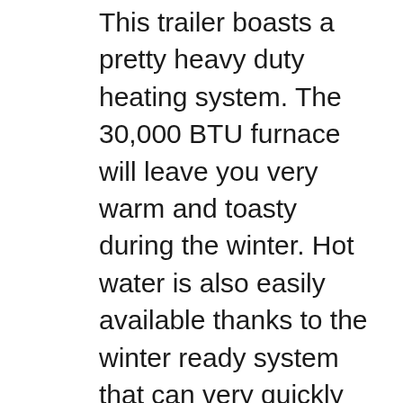This trailer boasts a pretty heavy duty heating system. The 30,000 BTU furnace will leave you very warm and toasty during the winter. Hot water is also easily available thanks to the winter ready system that can very quickly heat water up. You also get easily accessible USB ports in various parts of the trailer. One thing in particular that makes this trailer great is that it doesn't use a standard chassis for each floor plan. Instead, the chassis will be custom engineered for the floor plan you choose. This means that you get some pretty great storage options as well.
3. KZ Sportsmen Classic Ultra Lightweight Trailer